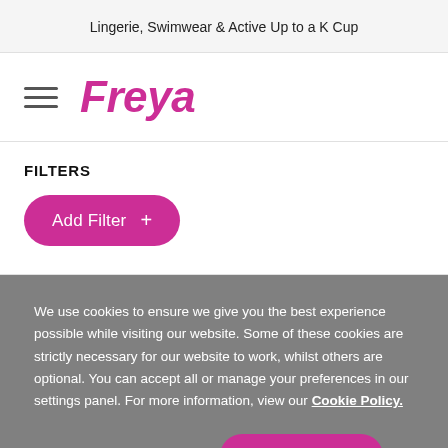Lingerie, Swimwear & Active Up to a K Cup
[Figure (logo): Hamburger menu icon and Freya brand logo in magenta/pink]
FILTERS
Add Filter +
We use cookies to ensure we give you the best experience possible while visiting our website. Some of these cookies are strictly necessary for our website to work, whilst others are optional. You can accept all or manage your preferences in our settings panel. For more information, view our Cookie Policy.
Manage Cookies
ACCEPT ALL